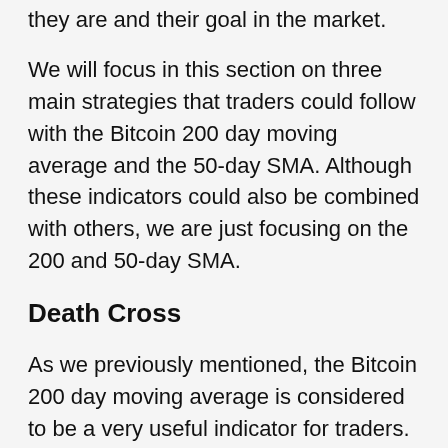they are and their goal in the market.
We will focus in this section on three main strategies that traders could follow with the Bitcoin 200 day moving average and the 50-day SMA. Although these indicators could also be combined with others, we are just focusing on the 200 and 50-day SMA.
Death Cross
As we previously mentioned, the Bitcoin 200 day moving average is considered to be a very useful indicator for traders. Even when it is used alone it provides valuable information to investors. However, it can have an even better effect when combined with the 50-day moving average.